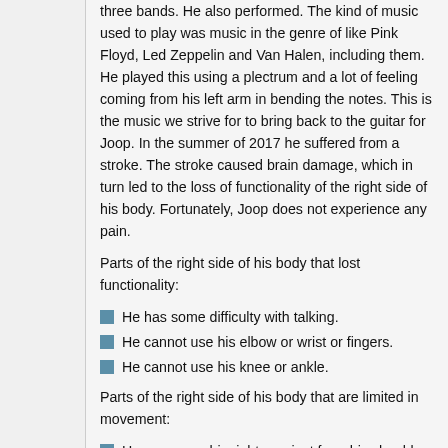three bands. He also performed. The kind of music used to play was music in the genre of like Pink Floyd, Led Zeppelin and Van Halen, including them. He played this using a plectrum and a lot of feeling coming from his left arm in bending the notes. This is the music we strive for to bring back to the guitar for Joop. In the summer of 2017 he suffered from a stroke. The stroke caused brain damage, which in turn led to the loss of functionality of the right side of his body. Fortunately, Joop does not experience any pain.
Parts of the right side of his body that lost functionality:
He has some difficulty with talking.
He cannot use his elbow or wrist or fingers.
He cannot use his knee or ankle.
Parts of the right side of his body that are limited in movement:
He can move his right arm just from his shoulder.
He can still walk with a rather stiff leg.